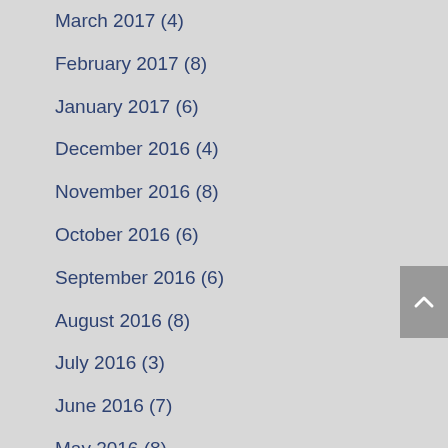March 2017 (4)
February 2017 (8)
January 2017 (6)
December 2016 (4)
November 2016 (8)
October 2016 (6)
September 2016 (6)
August 2016 (8)
July 2016 (3)
June 2016 (7)
May 2016 (8)
April 2016 (9)